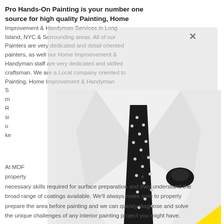Pro Hands-On Painting is your number one source for high quality Painting, Home Improvement & Handyman Services in Long Island, NYC & Sorrounding areas. All of our Painters are very dedicated and detail oriented painters, as well our Home Improevement & Handyman staff are very dedicated and skilled craftsman. We are a Local company oriented to Painting, Home Improvement & Handyman Services...
[Figure (photo): Black and white photo of a man in a white dress shirt with a black polka-dot tie and matching pocket square, with a large yellow triangle shape overlaid on the lower right portion of the image.]
At MDF... property... necessary skills required for surface preparation and they understand the broad range of coatings available. We'll always make sure to properly prepare the area before painting and we can quickly diagnose and solve the unique challenges of any interior painting project you might have.